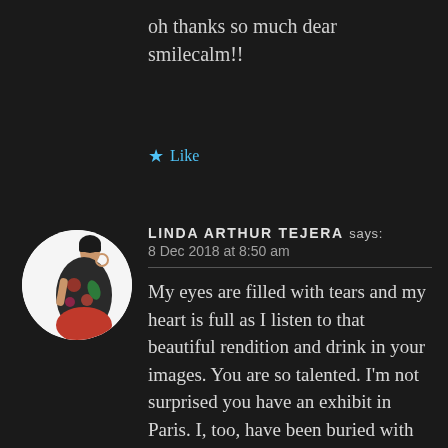oh thanks so much dear smilecalm!!
★ Like
[Figure (photo): Circular avatar photo of Linda Arthur Tejera — a woman in a floral dress against a white circular background]
LINDA ARTHUR TEJERA says
8 Dec 2018 at 8:50 am
My eyes are filled with tears and my heart is full as I listen to that beautiful rendition and drink in your images. You are so talented. I'm not surprised you have an exhibit in Paris. I, too, have been buried with day-to-day requirements and hope to be back more fully in the new